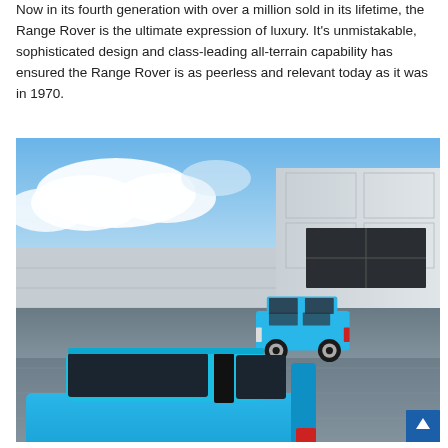Now in its fourth generation with over a million sold in its lifetime, the Range Rover is the ultimate expression of luxury. It's unmistakable, sophisticated design and class-leading all-terrain capability has ensured the Range Rover is as peerless and relevant today as it was in 1970.
[Figure (photo): Two bright blue Range Rovers parked on a wet reflective surface in front of a modern building with a partly cloudy sky. The foreground shows a modern fourth-generation Range Rover from the rear three-quarter view, and the background shows a classic first-generation Range Rover, both in vivid blue.]